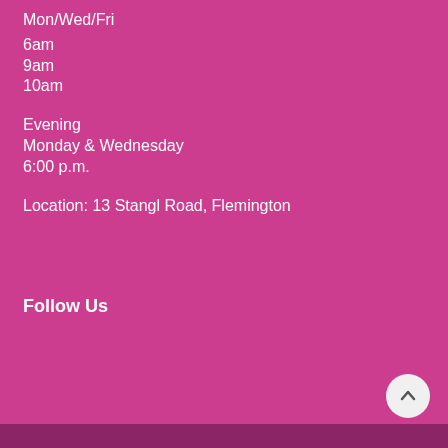Mon/Wed/Fri
6am
9am
10am
Evening
Monday & Wednesday
6:00 p.m.
Location: 13 Stangl Road, Flemington
Follow Us